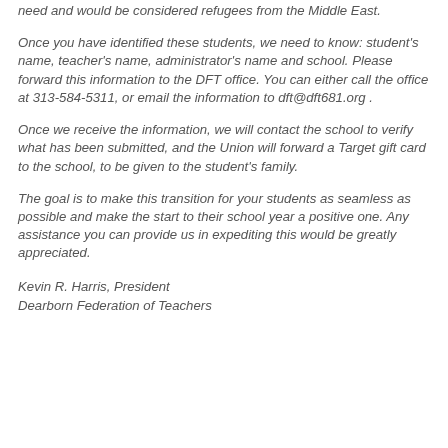need and would be considered refugees from the Middle East.
Once you have identified these students, we need to know: student's name, teacher's name, administrator's name and school. Please forward this information to the DFT office. You can either call the office at 313-584-5311, or email the information to dft@dft681.org .
Once we receive the information, we will contact the school to verify what has been submitted, and the Union will forward a Target gift card to the school, to be given to the student's family.
The goal is to make this transition for your students as seamless as possible and make the start to their school year a positive one. Any assistance you can provide us in expediting this would be greatly appreciated.
Kevin R. Harris, President
Dearborn Federation of Teachers